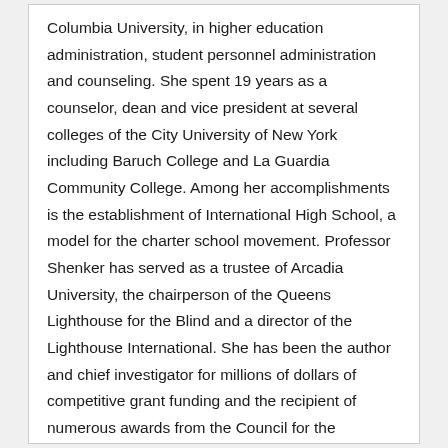Columbia University, in higher education administration, student personnel administration and counseling. She spent 19 years as a counselor, dean and vice president at several colleges of the City University of New York including Baruch College and La Guardia Community College. Among her accomplishments is the establishment of International High School, a model for the charter school movement. Professor Shenker has served as a trustee of Arcadia University, the chairperson of the Queens Lighthouse for the Blind and a director of the Lighthouse International. She has been the author and chief investigator for millions of dollars of competitive grant funding and the recipient of numerous awards from the Council for the Advancement and Support of Education. Professor Shenker is a founding member of the editorial board of the scholarly, refereed, quarterly academic journal Excelsior: Leadership in Teaching and Learning. Her current